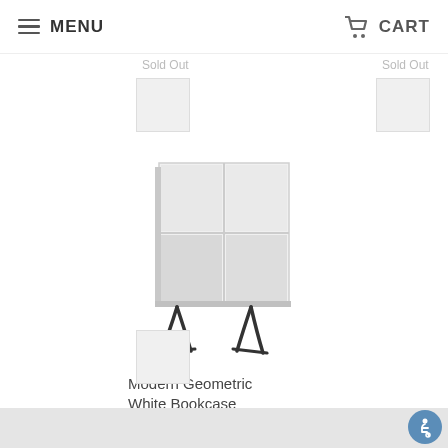MENU | CART
[Figure (photo): Small white placeholder thumbnail for sold-out product, left column]
Sold Out
[Figure (photo): Small white placeholder thumbnail for sold-out product, right column]
Sold Out
[Figure (photo): Modern Geometric White Bookcase with four open cubbies arranged in a 2x2 grid, sitting on black metal hairpin-style legs]
Modern Geometric White Bookcase
Sold Out
[Figure (photo): Small white placeholder thumbnail for another product at bottom]